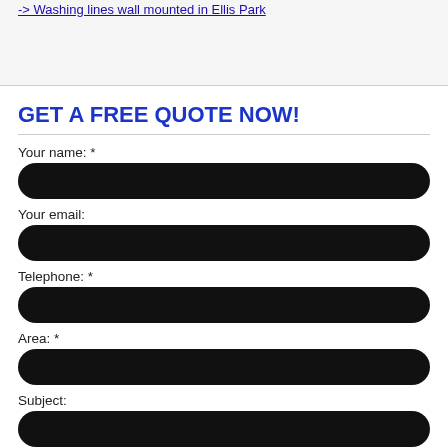-> Washing lines wall mounted in Ellis Park
GET A FREE QUOTE NOW!
Your name: *
Your email:
Telephone: *
Area: *
Subject:
Query / request: